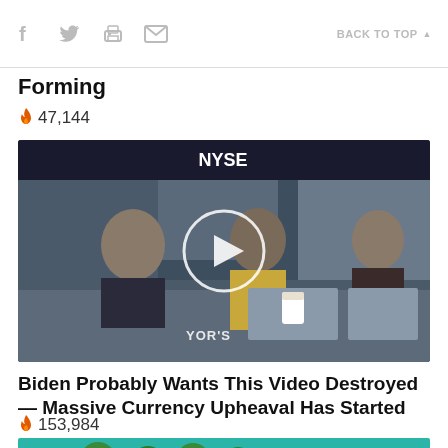f [twitter] [print] [email]   BACK TO TOP
Forming
🔥 47,144
[Figure (screenshot): Video thumbnail showing NYSE trading floor with two people seated at a desk, a play button overlay in the center, and 'YOR' watermark at bottom left]
Biden Probably Wants This Video Destroyed — Massive Currency Upheaval Has Started
🔥 153,984
[Figure (photo): Partial photo showing green metallic objects on a teal background, cropped at bottom of page]